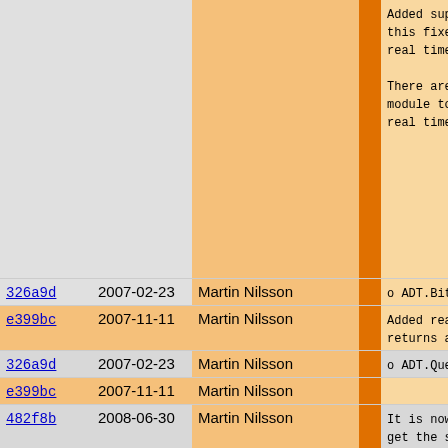| hash | date | author |  | message |
| --- | --- | --- | --- | --- |
|  |  |  |  | Added supp
this fixes
real time

There are
module to
real time |
| 326a9d | 2007-02-23 | Martin Nilsson |  | o ADT.BitBu |
| e399bc | 2007-11-11 | Martin Nilsson |  | Added read
returns as |
| 326a9d | 2007-02-23 | Martin Nilsson |  | o ADT.Queue |
| e399bc | 2007-11-11 | Martin Nilsson |  |  |
| 482f8b | 2008-06-30 | Martin Nilsson |  | It is now
get the si |
| e399bc | 2007-11-11 | Martin Nilsson |  | o ADT.Stack |
| 482f8b | 2008-06-30 | Martin Nilsson |  | Stack obje
stack. |
| 326a9d | 2007-02-23 | Martin Nilsson |  | o ADT.Struc |